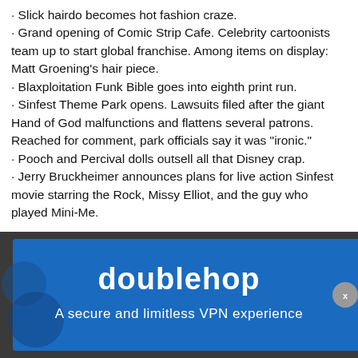· Slick hairdo becomes hot fashion craze.
· Grand opening of Comic Strip Cafe. Celebrity cartoonists team up to start global franchise. Among items on display: Matt Groening's hair piece.
· Blaxploitation Funk Bible goes into eighth print run.
· Sinfest Theme Park opens. Lawsuits filed after the giant Hand of God malfunctions and flattens several patrons. Reached for comment, park officials say it was "ironic."
· Pooch and Percival dolls outsell all that Disney crap.
· Jerry Bruckheimer announces plans for live action Sinfest movie starring the Rock, Missy Elliot, and the guy who played Mini-Me.
[Figure (infographic): Advertisement banner for 'doublehop' VPN service. Dark background with blue ad area showing 'doublehop' logo text and tagline 'A secure and limitless VPN experience'. Has a close (X) button in top right corner and a circular dismiss button on far right.]